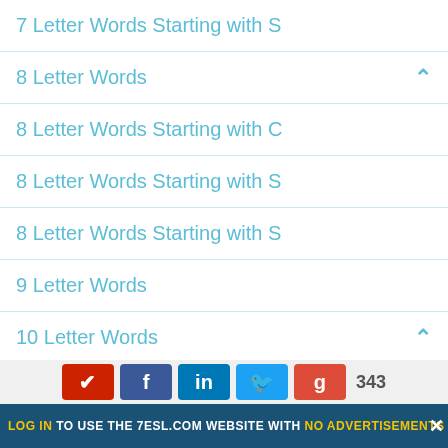7 Letter Words Starting with S
8 Letter Words
8 Letter Words Starting with C
8 Letter Words Starting with S
8 Letter Words Starting with S
9 Letter Words
10 Letter Words
10 Letter Words Starting with A
11 Letter Words
12 Letter Words
13 Letter Words
LOG IN TO USE THE 7ESL.COM WEBSITE WITH NO ADVERTISEMENTS